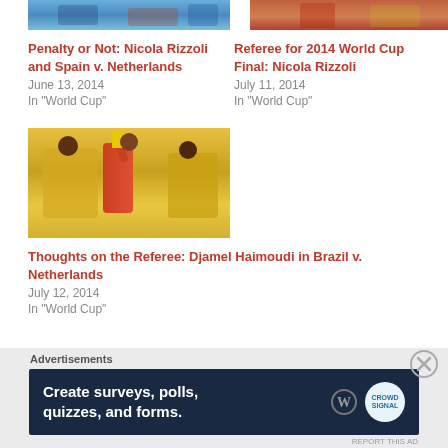[Figure (photo): Soccer players photo cropped at top, blue/teal tones - Spain v Netherlands match]
Penalty or Not: Nicola Rizzoli and Spain v. Netherlands
June 13, 2014
In "World Cup"
[Figure (photo): Soccer player in red uniform photo cropped at top]
Referee for 2014 World Cup Final: Nicola Rizzoli
July 11, 2014
In "World Cup"
[Figure (photo): Referee holding red card surrounded by yellow-jersey Brazil players]
Thoughts on the Referee: Djamel Haimoudi in Brazil v. Netherlands
July 12, 2014
In "World Cup"
[Figure (screenshot): Advertisement banner: Create surveys, polls, quizzes, and forms. With WordPress and crown logo.]